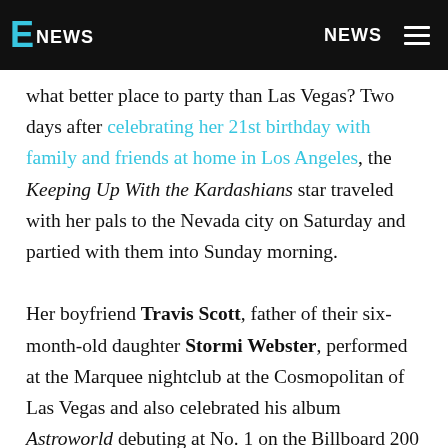E NEWS | NEWS
what better place to party than Las Vegas? Two days after celebrating her 21st birthday with family and friends at home in Los Angeles, the Keeping Up With the Kardashians star traveled with her pals to the Nevada city on Saturday and partied with them into Sunday morning.

Her boyfriend Travis Scott, father of their six-month-old daughter Stormi Webster, performed at the Marquee nightclub at the Cosmopolitan of Las Vegas and also celebrated his album Astroworld debuting at No. 1 on the Billboard 200 Albums chart. Kylie and her friends watched the show from a VIP table, E! News has learned...